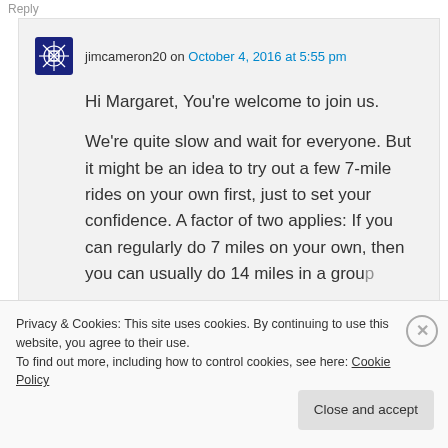Reply
jimcameron20 on October 4, 2016 at 5:55 pm
Hi Margaret, You're welcome to join us.

We're quite slow and wait for everyone. But it might be an idea to try out a few 7-mile rides on your own first, just to set your confidence. A factor of two applies: If you can regularly do 7 miles on your own, then you can usually do 14 miles in a group
Privacy & Cookies: This site uses cookies. By continuing to use this website, you agree to their use.
To find out more, including how to control cookies, see here: Cookie Policy
Close and accept